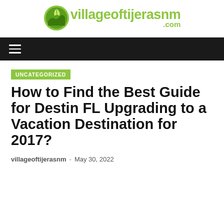villageoftijerasnm.com
[Figure (logo): villageoftijerasnm.com logo with green circular icon containing landscape and leaf motif, and green text]
≡ (navigation hamburger menu)
UNCATEGORIZED
How to Find the Best Guide for Destin FL Upgrading to a Vacation Destination for 2017?
villageoftijerasnm - May 30, 2022